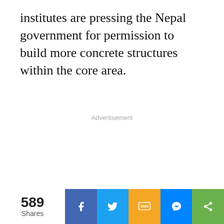institutes are pressing the Nepal government for permission to build more concrete structures within the core area.
Advertisement
589 Shares | Facebook | Twitter | SMS | Messenger | Share